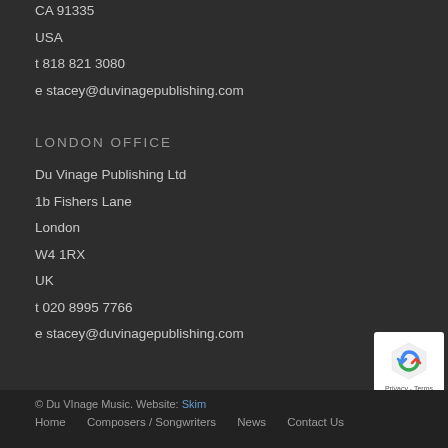CA 91335
USA
t 818 821 3080
e stacey@duvinagepublishing.com
LONDON OFFICE
Du Vinage Publishing Ltd
1b Fishers Lane
London
W4 1RX
UK
t 020 8995 7766
e stacey@duvinagepublishing.com
© Du VInage Music. Website: Skim | Home  Composers / Songwriters  News  Contact Us